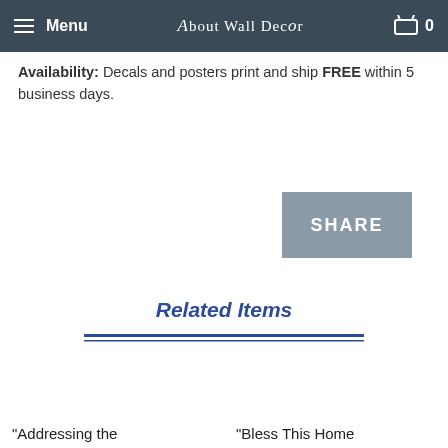Menu | About Wall Decor | 0
Availability: Decals and posters print and ship FREE within 5 business days.
SHARE
Related Items
"Addressing the
"Bless This Home